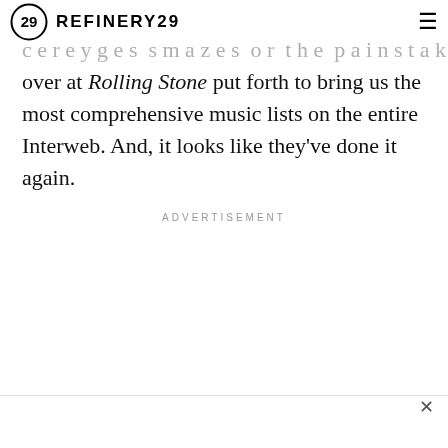REFINERY29
...c e r e y g e s s m a z e s o r t h e p a i n s t a k i n g e f f o r t t h e f o l k s over at Rolling Stone put forth to bring us the most comprehensive music lists on the entire Interweb. And, it looks like they've done it again.
ADVERTISEMENT